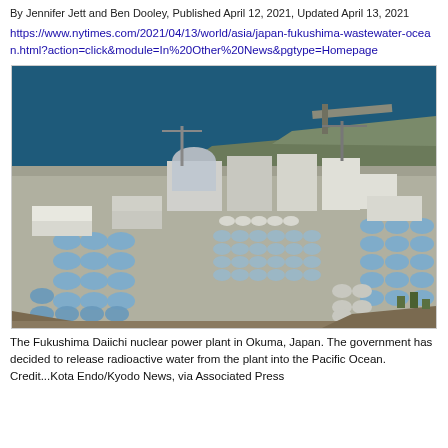By Jennifer Jett and Ben Dooley, Published April 12, 2021, Updated April 13, 2021
https://www.nytimes.com/2021/04/13/world/asia/japan-fukushima-wastewater-ocean.html?action=click&module=In%20Other%20News&pgtype=Homepage
[Figure (photo): Aerial photograph of the Fukushima Daiichi nuclear power plant in Okuma, Japan, showing numerous large cylindrical storage tanks for radioactive water, industrial buildings, cranes, and the Pacific Ocean in the background.]
The Fukushima Daiichi nuclear power plant in Okuma, Japan. The government has decided to release radioactive water from the plant into the Pacific Ocean. Credit...Kota Endo/Kyodo News, via Associated Press